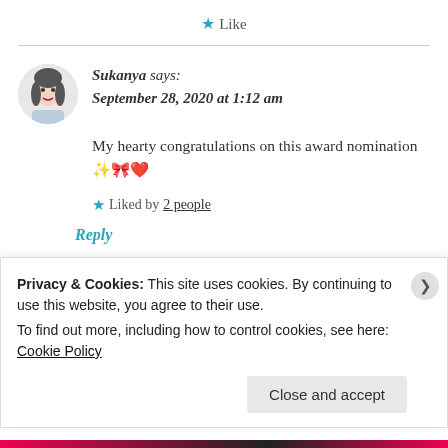★ Like
Sukanya says:
September 28, 2020 at 1:12 am
My hearty congratulations on this award nomination ✨🎀❤
★ Liked by 2 people
Reply
Privacy & Cookies: This site uses cookies. By continuing to use this website, you agree to their use.
To find out more, including how to control cookies, see here: Cookie Policy
Close and accept